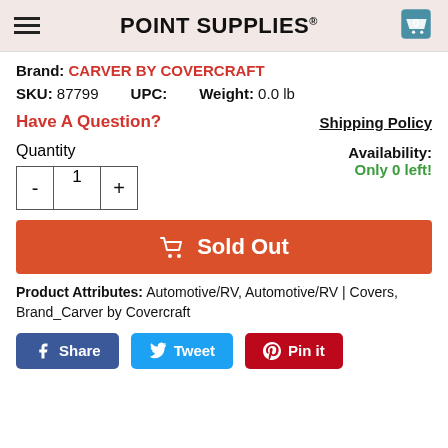POINT SUPPLIES®
Brand: CARVER BY COVERCRAFT
SKU: 87799   UPC:   Weight: 0.0 lb
Have A Question?   Shipping Policy
Quantity   Availability: Only 0 left!
Sold Out
Product Attributes: Automotive/RV, Automotive/RV | Covers, Brand_Carver by Covercraft
Share  Tweet  Pin it